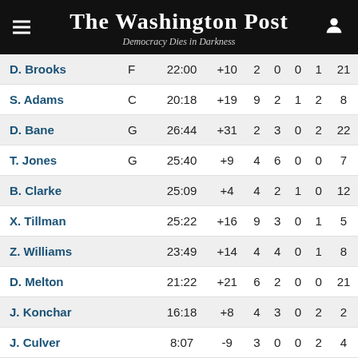The Washington Post — Democracy Dies in Darkness
| Player | Pos | MIN | +/- | REB | AST | BLK | STL | PTS |
| --- | --- | --- | --- | --- | --- | --- | --- | --- |
| D. Brooks | F | 22:00 | +10 | 2 | 0 | 0 | 1 | 21 |
| S. Adams | C | 20:18 | +19 | 9 | 2 | 1 | 2 | 8 |
| D. Bane | G | 26:44 | +31 | 2 | 3 | 0 | 2 | 22 |
| T. Jones | G | 25:40 | +9 | 4 | 6 | 0 | 0 | 7 |
| B. Clarke |  | 25:09 | +4 | 4 | 2 | 1 | 0 | 12 |
| X. Tillman |  | 25:22 | +16 | 9 | 3 | 0 | 1 | 5 |
| Z. Williams |  | 23:49 | +14 | 4 | 4 | 0 | 1 | 8 |
| D. Melton |  | 21:22 | +21 | 6 | 2 | 0 | 0 | 21 |
| J. Konchar |  | 16:18 | +8 | 4 | 3 | 0 | 2 | 2 |
| J. Culver |  | 8:07 | -9 | 3 | 0 | 0 | 2 | 4 |